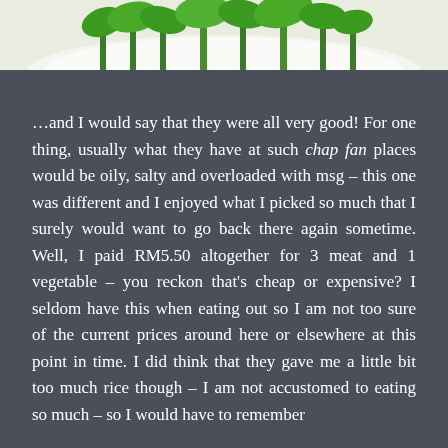[Figure (photo): Photograph of cooked green vegetables (likely kai lan or choy sum) on a white plate, visible at the top of the page]
…and I would say that they were all very good! For one thing, usually what they have at such chap fan places would be oily, salty and overloaded with msg – this one was different and I enjoyed what I picked so much that I surely would want to go back there again sometime. Well, I paid RM5.50 altogether for 3 meat and 1 vegetable – you reckon that's cheap or expensive? I seldom have this when eating out so I am not too sure of the current prices around here or elsewhere at this point in time. I did think that they gave me a little bit too much rice though – I am not accustomed to eating so much – so I would have to remember